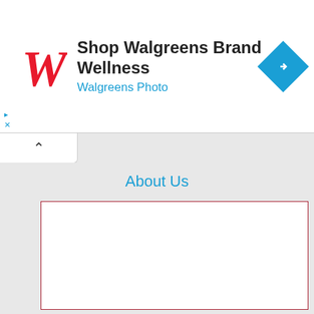[Figure (screenshot): Walgreens advertisement banner with red cursive W logo, text 'Shop Walgreens Brand Wellness' and 'Walgreens Photo' in blue, and a blue diamond navigation icon on the right. Small play and X icons on the left edge.]
[Figure (screenshot): Collapse/accordion tab with an upward caret (^) symbol on white background]
About Us
[Figure (other): Empty white content box with dark red border]